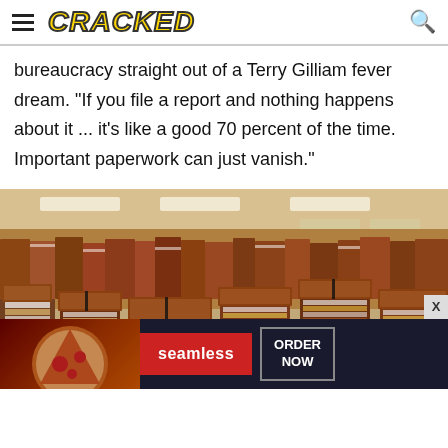CRACKED
bureaucracy straight out of a Terry Gilliam fever dream. "If you file a report and nothing happens about it ... it's like a good 70 percent of the time. Important paperwork can just vanish."
[Figure (photo): Large office room filled floor to ceiling with stacks of brown folders and paperwork on desks and filing shelves]
[Figure (other): Advertisement banner for Seamless food delivery showing pizza image on left, red Seamless button in middle, and ORDER NOW button on right]